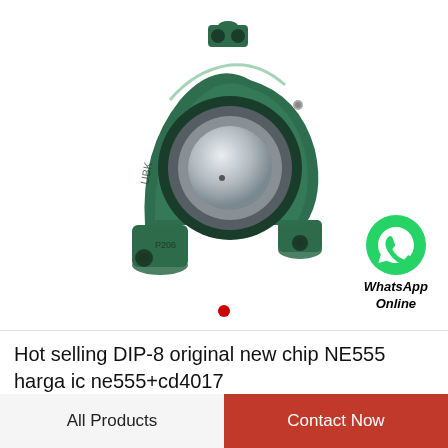[Figure (photo): A green cast iron pillow block bearing (P206) with a spherical ball bearing insert, shown at an angle on white background. Brand marking visible on housing.]
[Figure (logo): WhatsApp green circle logo icon with white phone handset, with text 'WhatsApp Online' below in bold italic.]
Hot selling DIP-8 original new chip NE555 harga ic ne555+cd4017
All Products
Contact Now